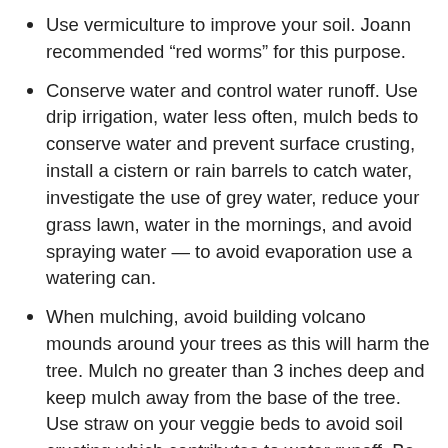Use vermiculture to improve your soil. Joann recommended “red worms” for this purpose.
Conserve water and control water runoff. Use drip irrigation, water less often, mulch beds to conserve water and prevent surface crusting, install a cistern or rain barrels to catch water, investigate the use of grey water, reduce your grass lawn, water in the mornings, and avoid spraying water — to avoid evaporation use a watering can.
When mulching, avoid building volcano mounds around your trees as this will harm the tree. Mulch no greater than 3 inches deep and keep mulch away from the base of the tree. Use straw on your veggie beds to avoid soil crusting which contributes to water runoff. Be aware that the straw you purchase may not be organic; verify that it has not been sprayed with toxic chemicals. Many people successfully use layers of newspaper or cardboard with mulch on top to smother weeds and prevent new ones from germinating in their flower beds and